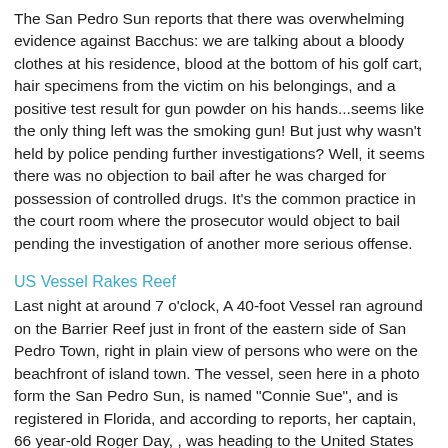The San Pedro Sun reports that there was overwhelming evidence against Bacchus: we are talking about a bloody clothes at his residence, blood at the bottom of his golf cart, hair specimens from the victim on his belongings, and a positive test result for gun powder on his hands...seems like the only thing left was the smoking gun! But just why wasn't held by police pending further investigations? Well, it seems there was no objection to bail after he was charged for possession of controlled drugs. It's the common practice in the court room where the prosecutor would object to bail pending the investigation of another more serious offense.
US Vessel Rakes Reef
Last night at around 7 o'clock, A 40-foot Vessel ran aground on the Barrier Reef just in front of the eastern side of San Pedro Town, right in plain view of persons who were on the beachfront of island town. The vessel, seen here in a photo form the San Pedro Sun, is named "Connie Sue", and is registered in Florida, and according to reports, her captain, 66 year-old Roger Day, , was heading to the United States from Guatemala. While the vessel was approaching Ambergris Caye, it allegedly started to have engine problems, and took on water. The captain then sent out a distress call which was answered by the employees of Amigos Del Mar, which was nearby. By that time, the vessel ran aground on the reef, and there is evidence of significant damage. Personnel from Coast Guard told